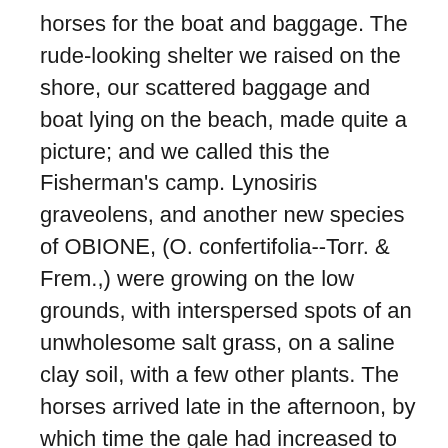horses for the boat and baggage. The rude-looking shelter we raised on the shore, our scattered baggage and boat lying on the beach, made quite a picture; and we called this the Fisherman's camp. Lynosiris graveolens, and another new species of OBIONE, (O. confertifolia--Torr. & Frem.,) were growing on the low grounds, with interspersed spots of an unwholesome salt grass, on a saline clay soil, with a few other plants. The horses arrived late in the afternoon, by which time the gale had increased to such a height that a man could scarcely stand before it; and we were obliged to pack our baggage hastily, as the rising water of the lake had already reached the point where we were halted. Looking back as we rode off, we found the place of recent encampment entirely covered. The low plain through which we rode to the camp was covered with a compact growth of shrubs of extraordinary size and luxuriance. The soil was sandy and saline; flat places, resembling the beds of ponds, that were bare of vegetation, and covered with a powdery white salt, being